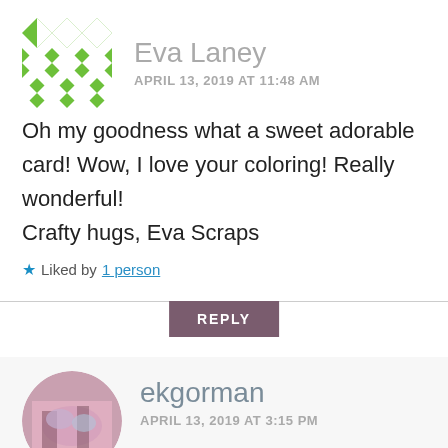[Figure (illustration): Green geometric quilt-pattern avatar icon for Eva Laney]
Eva Laney
APRIL 13, 2019 AT 11:48 AM
Oh my goodness what a sweet adorable card! Wow, I love your coloring! Really wonderful!
Crafty hugs, Eva Scraps
Liked by 1 person
REPLY
[Figure (photo): Circular avatar photo of ekgorman showing colorful craft items]
ekgorman
APRIL 13, 2019 AT 3:15 PM